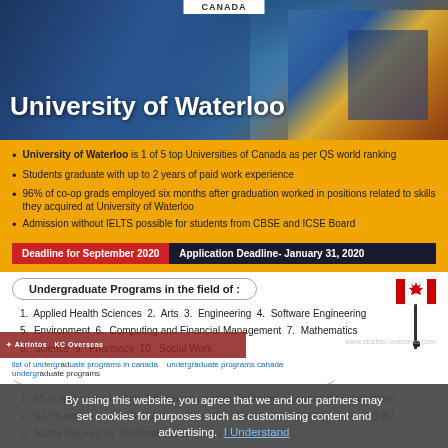CANADA
University of Waterloo
University of Waterloo is 1 of 5 top Universities of Canada as per QS world ranking
Students graduate with up to 2 years of paid work experience
96% of co-op grads employed six months after graduation worked in positions related to skills they acquired at University of Waterloo
Admission without IELTS possible for students from CBSE and ICSE Board
Deadline for September 2020 | Application Deadline- January 31, 2020
Undergraduate Programs in the field of :
1. Applied Health Sciences  2. Arts  3. Engineering  4. Software Engineering
5. Environment  6. Computing and Financial Management  7. Mathematics
8. Science  9. Pharmacy  10. Social Work
Admission Requirements for Under Graduate Programs:
1. 85 % and above for Arts & Business courses, Technical programs 90% and above
2. IELTS requirement of 6.5 bands with no band less than 6 / TOEFL score of 90 iBT.
3. Maths required for Technical and science courses.
By using this website, you agree that we and our partners may set cookies for purposes such as customising content and advertising.
list of undergraduate programs in canada undergraduate programs canada
[Figure (illustration): Canadian flag on a pole]
[Figure (photo): University of Waterloo building exterior — modern architecture with blue, yellow, and red facade]